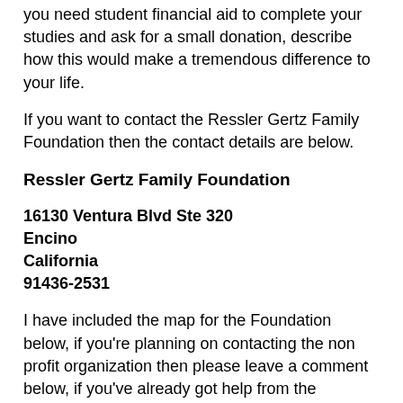you need student financial aid to complete your studies and ask for a small donation, describe how this would make a tremendous difference to your life.
If you want to contact the Ressler Gertz Family Foundation then the contact details are below.
Ressler Gertz Family Foundation
16130 Ventura Blvd Ste 320
Encino
California
91436-2531
I have included the map for the Foundation below, if you're planning on contacting the non profit organization then please leave a comment below, if you've already got help from the foundation please share your experiences to help others.
For urgent financial assistance visit the USA.Gov website to find financial assistance programs. Mortgage assistance